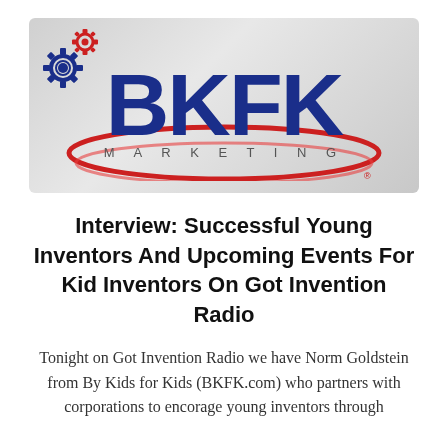[Figure (logo): BKFK Marketing logo with two interlocking gears (blue and red) on the left, large bold dark blue text 'BKFK', smaller spaced text 'MARKETING' beneath, all overlaid on a red elliptical swoosh on a grey gradient background.]
Interview: Successful Young Inventors And Upcoming Events For Kid Inventors On Got Invention Radio
Tonight on Got Invention Radio we have Norm Goldstein from By Kids for Kids (BKFK.com) who partners with corporations to encorage young inventors through